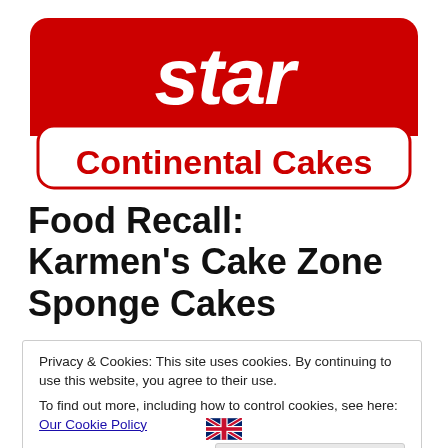[Figure (logo): Star Continental Cakes logo — red rounded rectangle with white italic 'star' text on top, white rounded rectangle below with red bold 'Continental Cakes' text]
Food Recall: Karmen's Cake Zone Sponge Cakes
Privacy & Cookies: This site uses cookies. By continuing to use this website, you agree to their use.
To find out more, including how to control cookies, see here: Our Cookie Policy
[Figure (illustration): UK flag (Union Jack) icon]